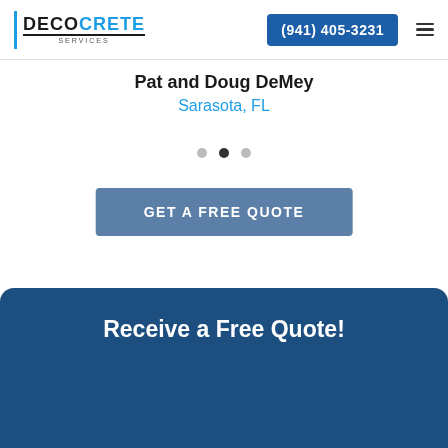DECOCRETE SERVICES | (941) 405-3231
Pat and Doug DeMey
Sarasota, FL
GET A FREE QUOTE
Receive a Free Quote!